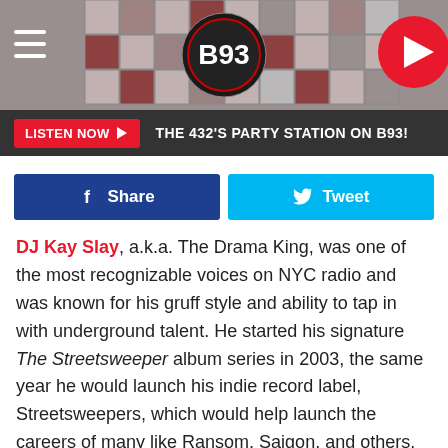[Figure (screenshot): B93 radio station header banner with grid pattern background, hamburger menu icon, B93 logo circle, and red play button]
LISTEN NOW ▶   THE 432'S PARTY STATION ON B93!
[Figure (screenshot): Facebook Share button (blue) and Twitter Tweet button (cyan)]
DJ Kay Slay, a.k.a. The Drama King, was one of the most recognizable voices on NYC radio and was known for his gruff style and ability to tap in with underground talent. He started his signature The Streetsweeper album series in 2003, the same year he would launch his indie record label, Streetsweepers, which would help launch the careers of many like Ransom, Saigon, and others. She would be